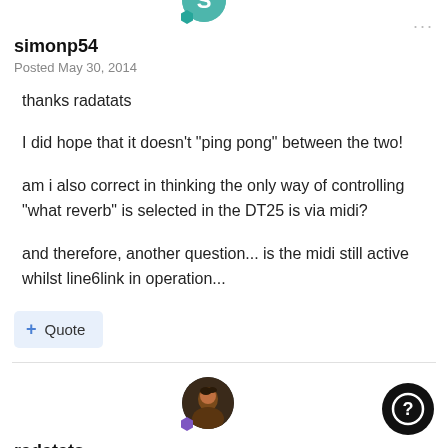[Figure (illustration): Teal circular avatar with letter S and a teal hexagon badge, for user simonp54]
simonp54
Posted May 30, 2014
thanks radatats

I did hope that it doesn't "ping pong" between the two!

am i also correct in thinking the only way of controlling "what reverb" is selected in the DT25 is via midi?

and therefore, another question... is the midi still active whilst line6link in operation...
Quote
[Figure (photo): Circular avatar with dark photo for user radatats, with purple hexagon badge. Black circle help button with question mark on right.]
radatats